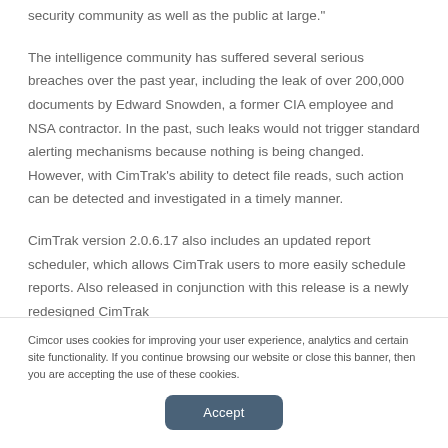security community as well as the public at large."
The intelligence community has suffered several serious breaches over the past year, including the leak of over 200,000 documents by Edward Snowden, a former CIA employee and NSA contractor. In the past, such leaks would not trigger standard alerting mechanisms because nothing is being changed. However, with CimTrak's ability to detect file reads, such action can be detected and investigated in a timely manner.
CimTrak version 2.0.6.17 also includes an updated report scheduler, which allows CimTrak users to more easily schedule reports. Also released in conjunction with this release is a newly redesigned CimTrak
Cimcor uses cookies for improving your user experience, analytics and certain site functionality. If you continue browsing our website or close this banner, then you are accepting the use of these cookies.